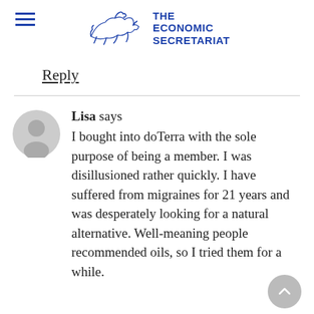THE ECONOMIC SECRETARIAT
Reply
Lisa says
I bought into doTerra with the sole purpose of being a member. I was disillusioned rather quickly. I have suffered from migraines for 21 years and was desperately looking for a natural alternative. Well-meaning people recommended oils, so I tried them for a while.